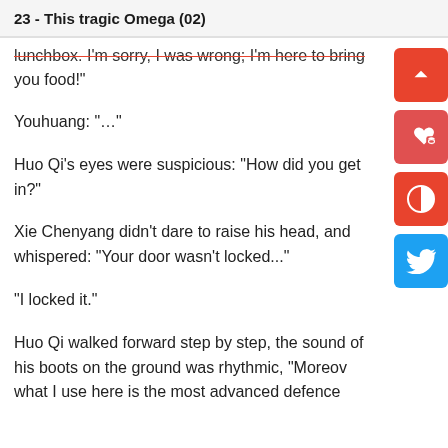23 - This tragic Omega (02)
lunchbox. "I'm sorry, I was wrong; I'm here to bring you food!"
Youhuang: "..."
Huo Qi's eyes were suspicious: "How did you get in?"
Xie Chenyang didn't dare to raise his head, and whispered: "Your door wasn't locked..."
"I locked it."
Huo Qi walked forward step by step, the sound of his boots on the ground was rhythmic, "Moreover, what I use here is the most advanced defence